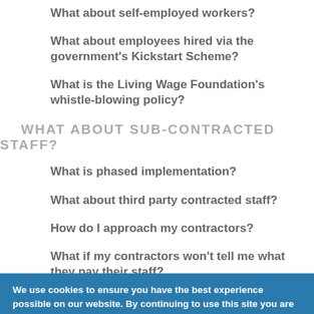What about self-employed workers?
What about employees hired via the government's Kickstart Scheme?
What is the Living Wage Foundation's whistle-blowing policy?
WHAT ABOUT SUB-CONTRACTED STAFF?
What is phased implementation?
What about third party contracted staff?
How do I approach my contractors?
What if my contractors won't tell me what they pay their staff?
What if I work in shared building and some workers are employed by the building management company?
We use cookies to ensure you have the best experience possible on our website. By continuing to use this site you are giving consent to cookies